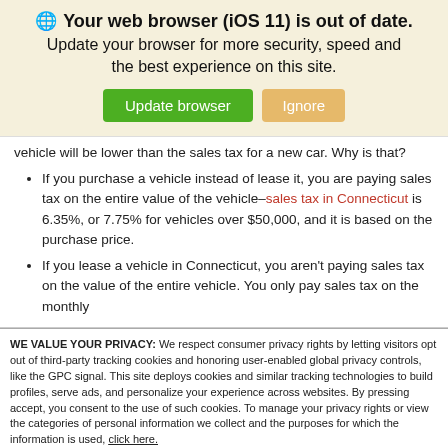[Figure (screenshot): Browser update notification banner with globe icon, bold title 'Your web browser (iOS 11) is out of date.', subtitle text, and two buttons: 'Update browser' (green) and 'Ignore' (tan/gold).]
vehicle will be lower than the sales tax for a new car. Why is that?
If you purchase a vehicle instead of lease it, you are paying sales tax on the entire value of the vehicle–sales tax in Connecticut is 6.35%, or 7.75% for vehicles over $50,000, and it is based on the purchase price.
If you lease a vehicle in Connecticut, you aren't paying sales tax on the value of the entire vehicle. You only pay sales tax on the monthly
WE VALUE YOUR PRIVACY: We respect consumer privacy rights by letting visitors opt out of third-party tracking cookies and honoring user-enabled global privacy controls, like the GPC signal. This site deploys cookies and similar tracking technologies to build profiles, serve ads, and personalize your experience across websites. By pressing accept, you consent to the use of such cookies. To manage your privacy rights or view the categories of personal information we collect and the purposes for which the information is used, click here.
Language:  English   ✓   Powered by ComplyAuto
Accept and Continue →   Privacy Policy   ×